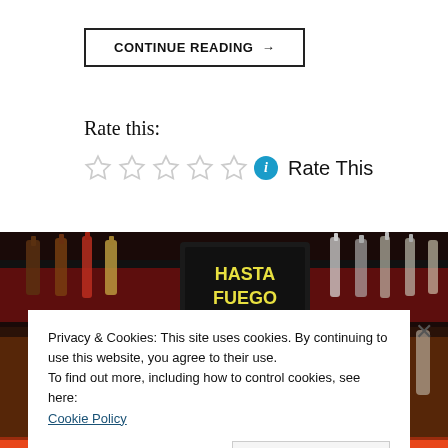CONTINUE READING →
Rate this:
Rate This
[Figure (photo): Bar scene with bottles on shelves, 'Hasta Fuego' sign visible in background, bartender pouring a drink]
Privacy & Cookies: This site uses cookies. By continuing to use this website, you agree to their use.
To find out more, including how to control cookies, see here: Cookie Policy
Close and accept